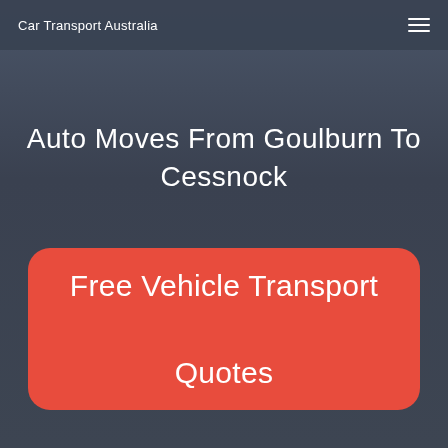Car Transport Australia
Auto Moves From Goulburn To Cessnock
Free Vehicle Transport Quotes